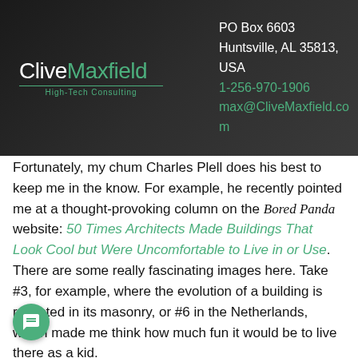[Figure (logo): CliveMaxfield High-Tech Consulting logo with green accent color on dark background]
PO Box 6603
Huntsville, AL 35813, USA
1-256-970-1906
max@CliveMaxfield.com
Fortunately, my chum Charles Plell does his best to keep me in the know. For example, he recently pointed me at a thought-provoking column on the Bored Panda website: 50 Times Architects Made Buildings That Look Cool but Were Uncomfortable to Live in or Use. There are some really fascinating images here. Take #3, for example, where the evolution of a building is reflected in its masonry, or #6 in the Netherlands, which made me think how much fun it would be to live there as a kid.